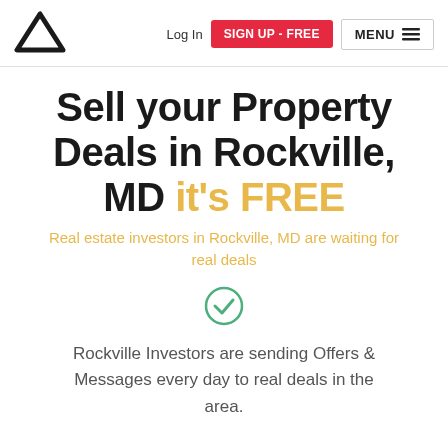Log In | SIGN UP - FREE | MENU
Sell your Property Deals in Rockville, MD it's FREE
Real estate investors in Rockville, MD are waiting for real deals
[Figure (illustration): Green circle with a checkmark icon]
Rockville Investors are sending Offers & Messages every day to real deals in the area.